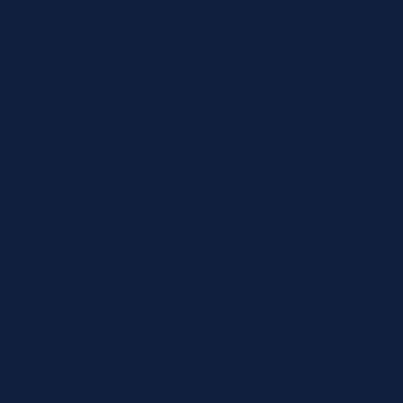[Figure (other): Solid dark navy blue background filling the entire page with no text or other visible content.]